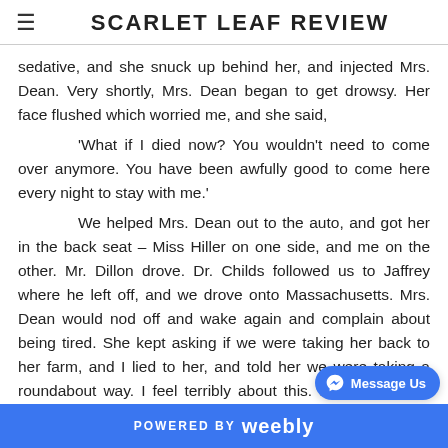SCARLET LEAF REVIEW
sedative, and she snuck up behind her, and injected Mrs. Dean. Very shortly, Mrs. Dean began to get drowsy. Her face flushed which worried me, and she said,

'What if I died now? You wouldn't need to come over anymore. You have been awfully good to come here every night to stay with me.'

We helped Mrs. Dean out to the auto, and got her in the back seat – Miss Hiller on one side, and me on the other. Mr. Dillon drove. Dr. Childs followed us to Jaffrey where he left off, and we drove onto Massachusetts. Mrs. Dean would nod off and wake again and complain about being tired. She kept asking if we were taking her back to her farm, and I lied to her, and told her we were taking a roundabout way. I feel terribly about this. I'm ashamed of myself for deceiving a vulnerable
POWERED BY weebly